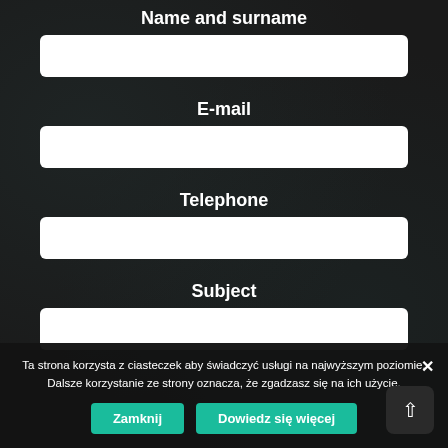Name and surname
[Figure (other): Empty text input field for Name and surname]
E-mail
[Figure (other): Empty text input field for E-mail]
Telephone
[Figure (other): Empty text input field for Telephone]
Subject
[Figure (other): Empty text input field for Subject]
Ta strona korzysta z ciasteczek aby świadczyć usługi na najwyższym poziomie. Dalsze korzystanie ze strony oznacza, że zgadzasz się na ich użycie.
Zamknij
Dowiedz się więcej